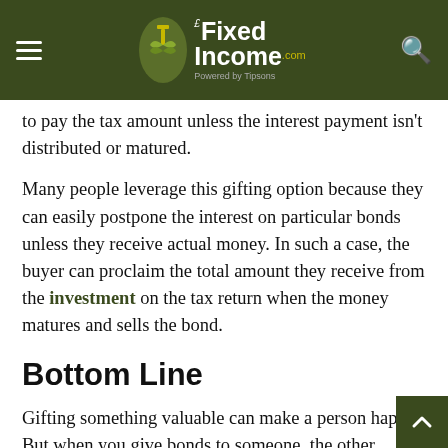The Fixed Income.com — Powered by Tipsons
to pay the tax amount unless the interest payment isn't distributed or matured.
Many people leverage this gifting option because they can easily postpone the interest on particular bonds unless they receive actual money. In such a case, the buyer can proclaim the total amount they receive from the investment on the tax return when the money matures and sells the bond.
Bottom Line
Gifting something valuable can make a person happy. But when you give bonds to someone, the other person can make more money in the future